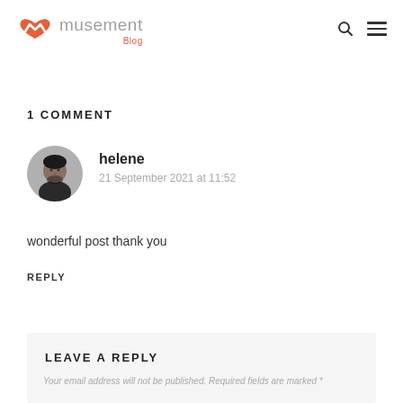musement Blog
1 COMMENT
[Figure (photo): Circular avatar photo of a man with dark hair and beard wearing a black jacket]
helene
21 September 2021 at 11:52
wonderful post thank you
REPLY
LEAVE A REPLY
Your email address will not be published. Required fields are marked *